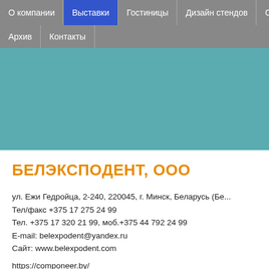О компании | Выставки | Гостиницы | Дизайн стендов | Стр... | Архив | Контакты
[Figure (other): Teal/blue-green banner background image area]
БЕЛЭКСПОДЕНТ, ООО
ул. Ежи Гедройца, 2-240, 220045, г. Минск, Беларусь (Бе...
Тел/факс +375 17 275 24 99
Тел. +375 17 320 21 99, моб.+375 44 792 24 99
E-mail: belexpodent@yandex.ru
Сайт: www.belexpodent.com
https://componeer.by/
Эксклюзивный представитель в Республике Беларусь к...
• Coltene/Whaledent A.G. (Швейцария) – стоматологиче...
- COMPONEER - первая система прямых композитных н...
- Композитные материалы: "Brilliant Ever Glow", "Miris 2",...
- Композитные усиленные блоки из субмикронного гиб...
"Brilliant Crios";